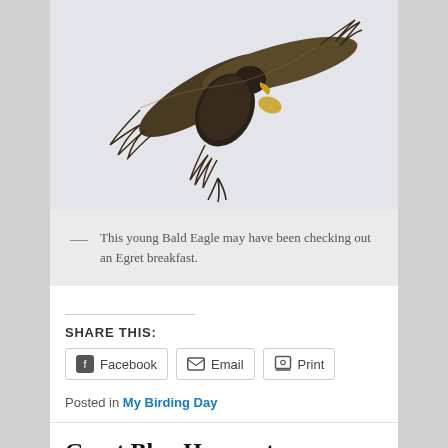[Figure (photo): A young Bald Eagle in flight against a grey sky, wings spread, viewed from below/side at an angle, with brown and golden-yellow plumage.]
This young Bald Eagle may have been checking out an Egret breakfast.
SHARE THIS:
Posted in My Birding Day
Great Blue Heron at Sandy Point State Park,